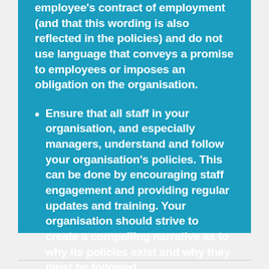employee's contract of employment (and that this wording is also reflected in the policies) and do not use language that conveys a promise to employees or imposes an obligation on the organisation.
Ensure that all staff in your organisation, and especially managers, understand and follow your organisation's policies. This can be done by encouraging staff engagement and providing regular updates and training. Your organisation should strive to create a compelling narrative as to why its policies exist and why they must be followed.